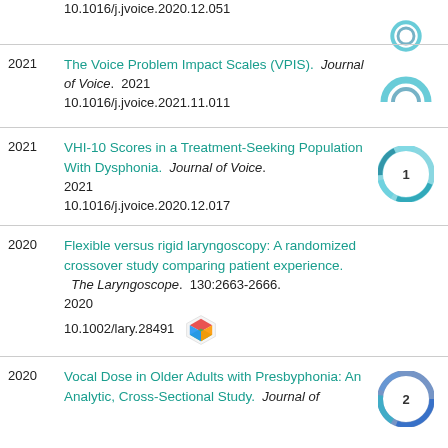10.1016/j.jvoice.2020.12.051
2021  The Voice Problem Impact Scales (VPIS).  Journal of Voice.  2021  10.1016/j.jvoice.2021.11.011
2021  VHI-10 Scores in a Treatment-Seeking Population With Dysphonia.  Journal of Voice.  2021  10.1016/j.jvoice.2020.12.017
2020  Flexible versus rigid laryngoscopy: A randomized crossover study comparing patient experience.  The Laryngoscope.  130:2663-2666.  2020  10.1002/lary.28491
2020  Vocal Dose in Older Adults with Presbyphonia: An Analytic, Cross-Sectional Study.  Journal of